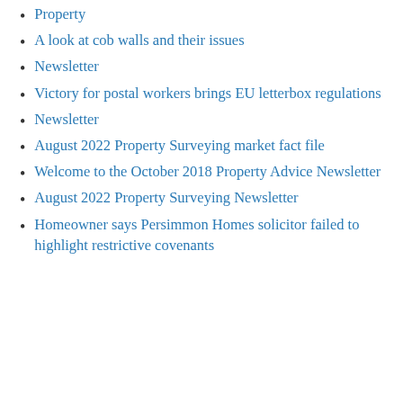Property
A look at cob walls and their issues
Newsletter
Victory for postal workers brings EU letterbox regulations
Newsletter
August 2022 Property Surveying market fact file
Welcome to the October 2018 Property Advice Newsletter
August 2022 Property Surveying Newsletter
Homeowner says Persimmon Homes solicitor failed to highlight restrictive covenants